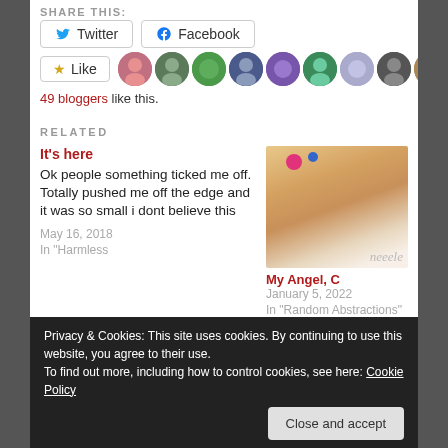SHARE THIS:
Twitter button
Facebook button
[Figure (other): Like button with star icon and a row of 9 user avatar photos]
49 bloggers like this.
RELATED
It's here
Ok people something ticked me off. Totally pushed me off the edge and it was so small i dont believe this
May 16, 2018
In "Harmless
[Figure (photo): Photo of a cat lying down, with a pink ball in the upper left of the image]
My Angel, C
January 5, 2022
In "Random Abstractions"
Privacy & Cookies: This site uses cookies. By continuing to use this website, you agree to their use.
To find out more, including how to control cookies, see here: Cookie Policy
Close and accept